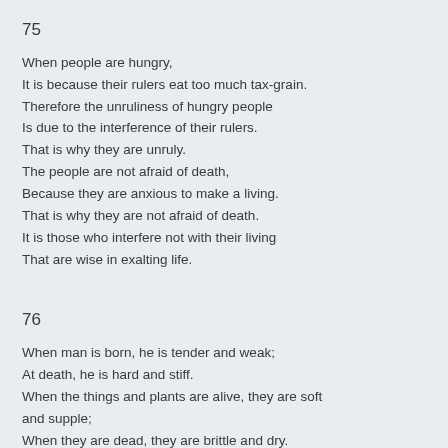75
When people are hungry,
It is because their rulers eat too much tax-grain.
Therefore the unruliness of hungry people
Is due to the interference of their rulers.
That is why they are unruly.
The people are not afraid of death,
Because they are anxious to make a living.
That is why they are not afraid of death.
It is those who interfere not with their living
That are wise in exalting life.
76
When man is born, he is tender and weak;
At death, he is hard and stiff.
When the things and plants are alive, they are soft and supple;
When they are dead, they are brittle and dry.
Therefore hardness and stiffness are the companions of death,
And softness and gentleness are the companions of life.